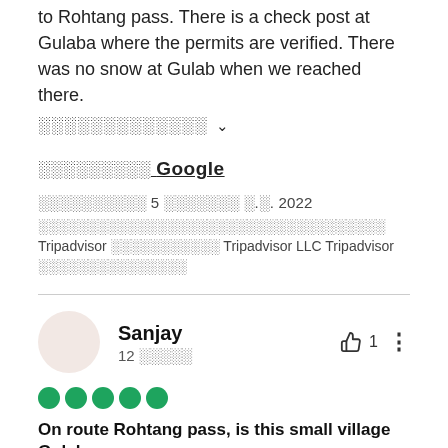to Rohtang pass. There is a check post at Gulaba where the permits are verified. There was no snow at Gulab when we reached there.
░░░░░░░░░░░░░ ∨
░░░░░░░░░ Google
░░░░░░░░░░ 5 ░░░░░░░ ░.░. 2022
░░░░░░░░░░░░░░░░░░░░░░░░░░░░░░░░░░░ Tripadvisor ░░░░░░░░░░░ Tripadvisor LLC Tripadvisor ░░░░░░░░░░░░░░░
Sanjay
12 ░░░░░
👍 1
●●●●●
On route Rohtang pass, is this small village Gulaba.
If you plan to visit Rohtang pass, there is a check point at Gulaba. You have to have an ONLINE (only) permit to go beyond this point. Ensure you have this permit